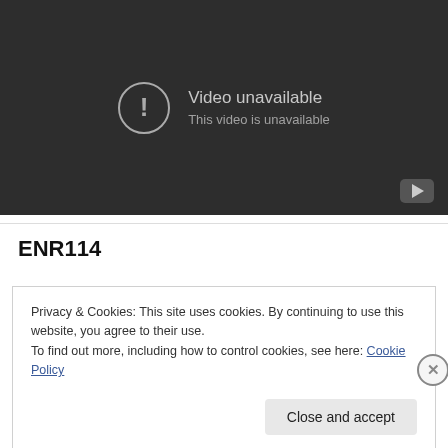[Figure (screenshot): YouTube-style video player showing 'Video unavailable – This video is unavailable' message on dark background with YouTube icon in bottom-right corner.]
ENR114
Privacy & Cookies: This site uses cookies. By continuing to use this website, you agree to their use.
To find out more, including how to control cookies, see here: Cookie Policy

Close and accept